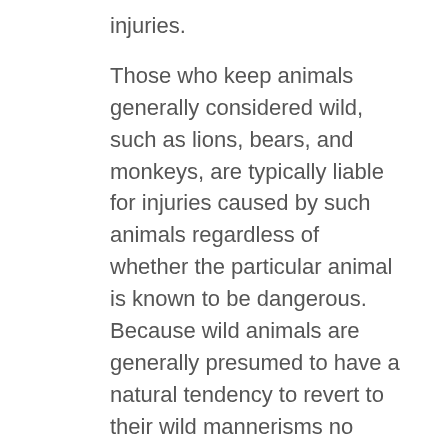injuries.
Those who keep animals generally considered wild, such as lions, bears, and monkeys, are typically liable for injuries caused by such animals regardless of whether the particular animal is known to be dangerous. Because wild animals are generally presumed to have a natural tendency to revert to their wild mannerisms no matter how well trained or domesticated, owners of such animals are often said to be “strictly liable” for any injuries caused by their wild animals. However, strict liability may not apply if the animal injures someone while it is confined or restrained on its owner’s property, but this is a factually dependent argument that will not apply in every case.